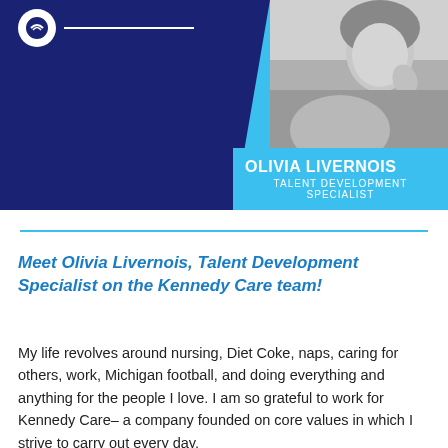[Figure (photo): Banner with dark navy blue background on the left side showing a logo (circle and horizontal line), a light blue triangular/diagonal section, and a black-and-white photo of Olivia Livernois on the right. Below the photo is a light blue name box with 'OLIVIA LIVERNOIS' and 'TALENT DEVELOPMENT SPECIALIST'.]
Meet Olivia Livernois, Talent Development Specialist on the Kennedy Care team!
My life revolves around nursing, Diet Coke, naps, caring for others, work, Michigan football, and doing everything and anything for the people I love. I am so grateful to work for Kennedy Care– a company founded on core values in which I strive to carry out every day.